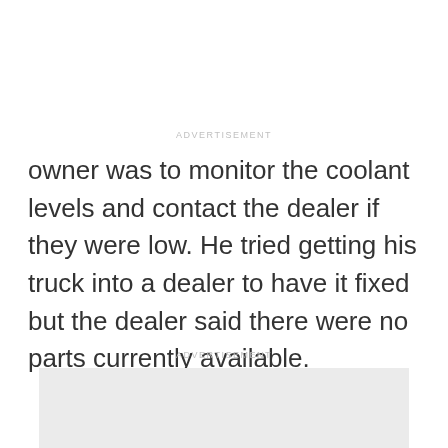ADVERTISEMENT
owner was to monitor the coolant levels and contact the dealer if they were low. He tried getting his truck into a dealer to have it fixed but the dealer said there were no parts currently available.
ADVERTISEMENT
[Figure (other): Gray advertisement placeholder box]